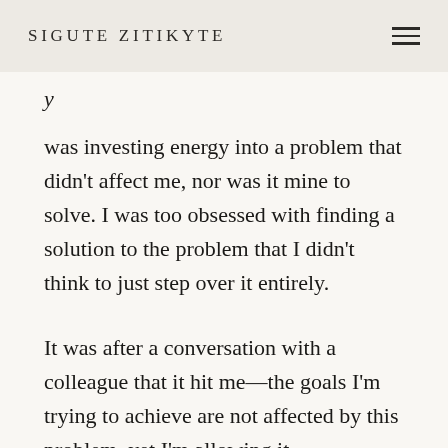SIGUTE ZITIKYTE
was investing energy into a problem that didn't affect me, nor was it mine to solve. I was too obsessed with finding a solution to the problem that I didn't think to just step over it entirely.
It was after a conversation with a colleague that it hit me—the goals I'm trying to achieve are not affected by this problem, yet I'm allowing it